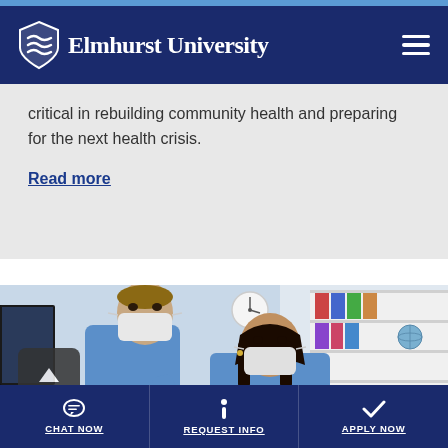Elmhurst University
critical in rebuilding community health and preparing for the next health crisis.
Read more
[Figure (photo): Two healthcare workers in blue scrubs and white face masks looking at a document or screen together in a medical office setting.]
CHAT NOW  REQUEST INFO  APPLY NOW